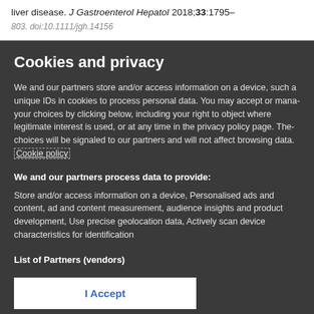significant… in patients with non-alcoholic fatty liver disease. J Gastroenterol Hepatol 2018;33:1795–803. doi:10.1111/jgh.14156
Cookies and privacy
We and our partners store and/or access information on a device, such as unique IDs in cookies to process personal data. You may accept or manage your choices by clicking below, including your right to object where legitimate interest is used, or at any time in the privacy policy page. These choices will be signaled to our partners and will not affect browsing data. Cookie policy
We and our partners process data to provide:
Store and/or access information on a device, Personalised ads and content, ad and content measurement, audience insights and product development, Use precise geolocation data, Actively scan device characteristics for identification
List of Partners (vendors)